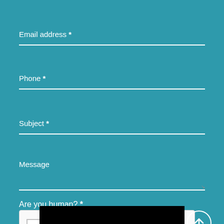Email address *
Phone *
Subject *
Message
Are you human? *
[Figure (other): reCAPTCHA widget with checkbox labeled I'm not a robot, reCAPTCHA logo, Privacy and Terms links]
[Figure (other): Circular button with upward arrow icon]
[Figure (other): Black bar at the bottom of the page]